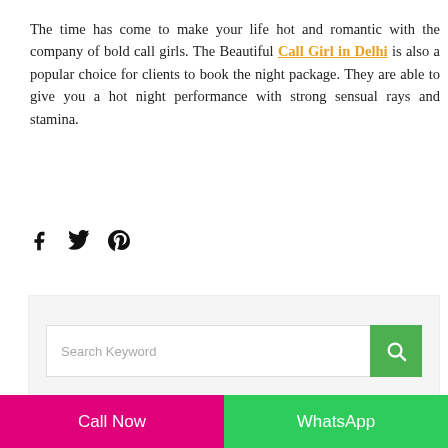The time has come to make your life hot and romantic with the company of bold call girls. The Beautiful Call Girl in Delhi is also a popular choice for clients to book the night package. They are able to give you a hot night performance with strong sensual rays and stamina.
[Figure (other): Social share icons: Facebook, Twitter, Pinterest]
[Figure (other): Search bar with green search button and placeholder text 'Search Keyword']
Call Now | WhatsApp